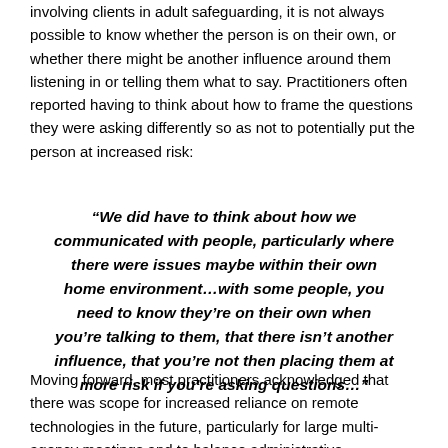involving clients in adult safeguarding, it is not always possible to know whether the person is on their own, or whether there might be another influence around them listening in or telling them what to say. Practitioners often reported having to think about how to frame the questions they were asking differently so as not to potentially put the person at increased risk:
“We did have to think about how we communicated with people, particularly where there were issues maybe within their own home environment…with some people, you need to know they’re on their own when you’re talking to them, that there isn’t another influence, that you’re not then placing them at more risk if you’re asking questions…”
Moving forward, most practitioners acknowledged that there was scope for increased reliance on remote technologies in the future, particularly for large multi-agency meetings and to balance administrative